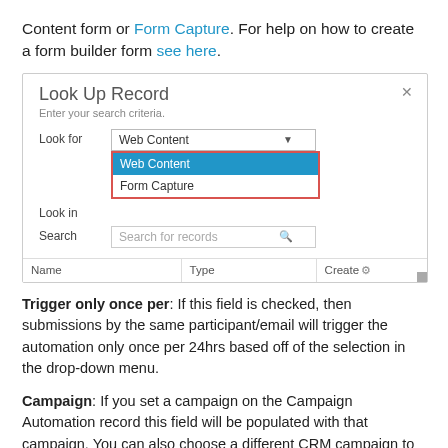Content form or Form Capture. For help on how to create a form builder form see here.
[Figure (screenshot): Screenshot of a CRM 'Look Up Record' dialog with a dropdown showing 'Web Content' selected (highlighted in blue) and 'Form Capture' as the second option. Fields shown: Look for (dropdown), Look in (dropdown with red border), Search (text input). Table columns: Name, Type, Create.]
Trigger only once per: If this field is checked, then submissions by the same participant/email will trigger the automation only once per 24hrs based off of the selection in the drop-down menu.
Campaign: If you set a campaign on the Campaign Automation record this field will be populated with that campaign. You can also choose a different CRM campaign to associate here. This will set the Campaign field on the